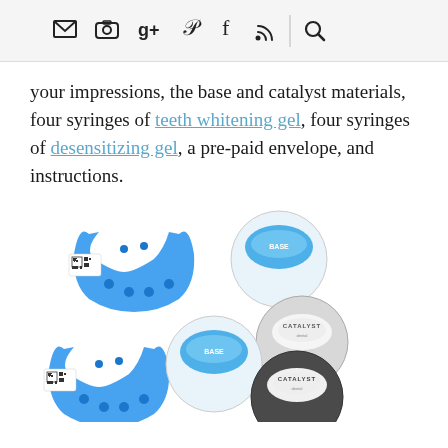[navigation icons: email, instagram, google+, pinterest, facebook, rss, search]
your impressions, the base and catalyst materials, four syringes of teeth whitening gel, four syringes of desensitizing gel, a pre-paid envelope, and instructions.
[Figure (photo): Dental impression trays (blue U-shaped trays with QR code labels) and round catalyst/base material containers with Catalyst branding, arranged on a white background.]